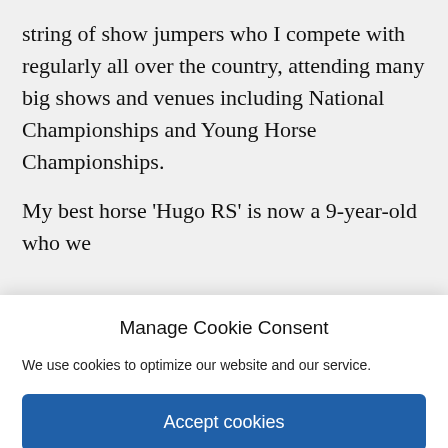string of show jumpers who I compete with regularly all over the country, attending many big shows and venues including National Championships and Young Horse Championships.
My best horse 'Hugo RS' is now a 9-year-old who we
Manage Cookie Consent
We use cookies to optimize our website and our service.
Accept cookies
Deny
View preferences
Cookies and privacy policy  Cookies and privacy policy